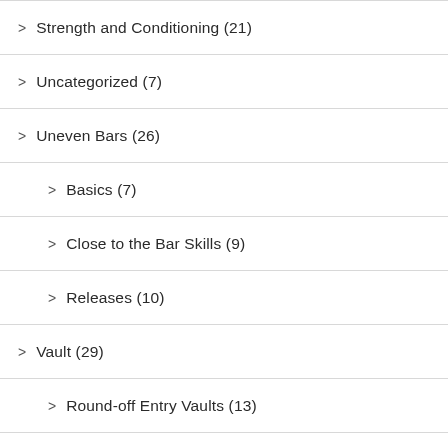Strength and Conditioning (21)
Uncategorized (7)
Uneven Bars (26)
Basics (7)
Close to the Bar Skills (9)
Releases (10)
Vault (29)
Round-off Entry Vaults (13)
Side Vaults (12)